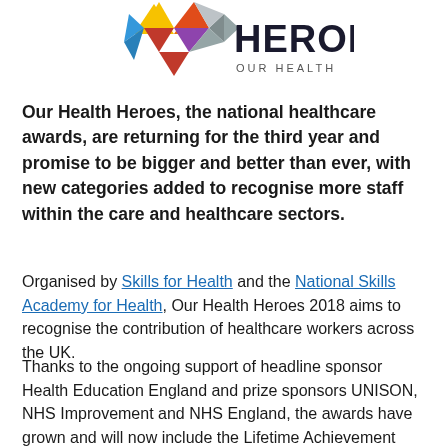[Figure (logo): Our Health Heroes logo — colourful star/triangle mosaic graphic with 'HEROES' text in dark letters]
Our Health Heroes, the national healthcare awards, are returning for the third year and promise to be bigger and better than ever, with new categories added to recognise more staff within the care and healthcare sectors.
Organised by Skills for Health and the National Skills Academy for Health, Our Health Heroes 2018 aims to recognise the contribution of healthcare workers across the UK.
Thanks to the ongoing support of headline sponsor Health Education England and prize sponsors UNISON, NHS Improvement and NHS England, the awards have grown and will now include the Lifetime Achievement Award #NHS70 and